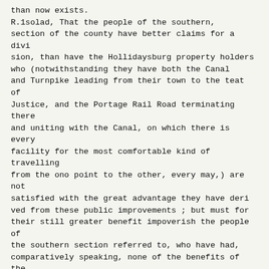than now exists.
R.1solad, That the people of the southern, section of the county have better claims for a divi sion, than have the Hollidaysburg property holders who (notwithstanding they have both the Canal and Turnpike leading from their town to the teat of Justice, and the Portage Rail Road terminating there and uniting with the Canal, on which there is every facility for the most comfortable kind of travelling from the ono point to the other, every may,) are not satisfied with the great advantage they have deri ved from these public improvements ; but must for their still greater benefit impoverish the people of the southern section referred to, who have had, comparatively speaking, none of the benefits of the public works.
.Resoked, That the state of our trial list affords no argument in favor of a division of the county, 1 and that if it prove anything, it only proves the priety of the erection of a District Court—for, cer tainly no groat amount of wisdom is necessary to see that it will require the same length of time to the same cause, whether the Court sits in Holli daysburg or in Huntingdon. Time too, is always